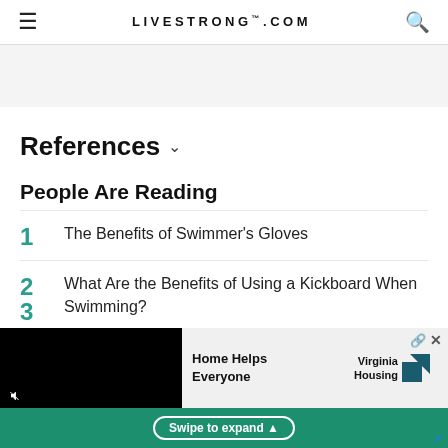LIVESTRONG.COM
References
People Are Reading
1  The Benefits of Swimmer's Gloves
2  What Are the Benefits of Using a Kickboard When Swimming?
[Figure (screenshot): Advertisement overlay at the bottom: video player on left showing black screen with mute icon; ad for 'Home Helps Everyone' Virginia Housing on right; green banner with 'Swipe to expand' button at bottom.]